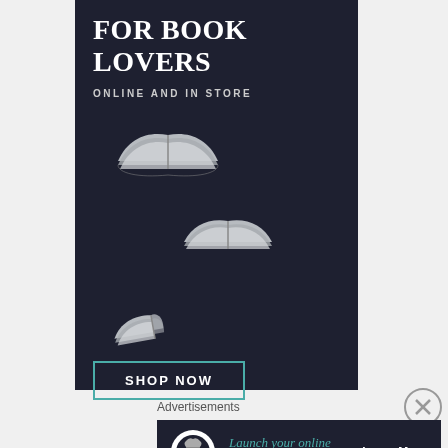[Figure (illustration): Dark navy advertisement banner for book lovers with text 'FOR BOOK LOVERS', 'ONLINE AND IN STORE', three flying open book icons at different positions, and a teal 'SHOP NOW' button]
Advertisements
[Figure (illustration): Dark navy bottom advertisement banner with WordPress logo icon, teal italic text 'Launch your online course with WordPress', and white 'Learn More' link]